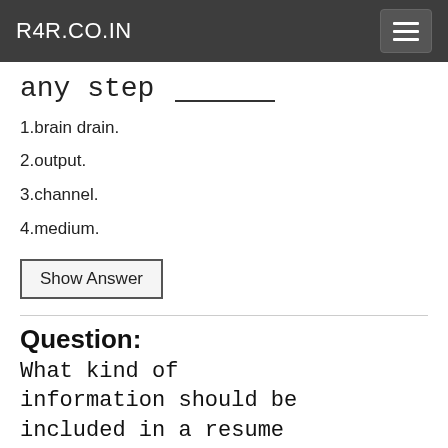R4R.CO.IN
any step ___________
1.brain drain.
2.output.
3.channel.
4.medium.
Show Answer
Question:
What kind of information should be included in a resume